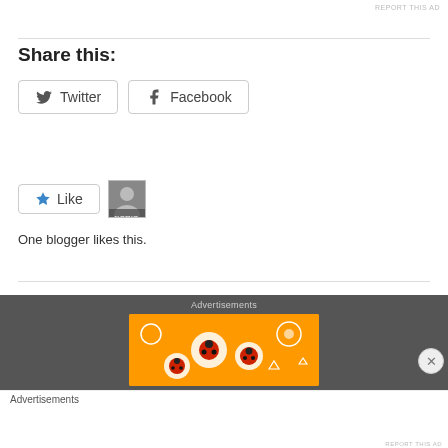REPORT THIS AD
Share this:
[Figure (other): Twitter share button with bird icon]
[Figure (other): Facebook share button with f icon]
[Figure (other): Like button with star icon and blogger avatar thumbnail]
One blogger likes this.
Advertisements
[Figure (other): Orange decorative advertisement banner with ladybug and floral patterns]
Advertisements
[Figure (other): Seamless food delivery advertisement banner with pizza image and ORDER NOW button]